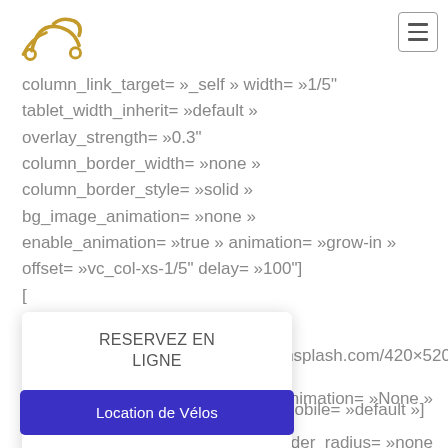[Figure (logo): Stylized bicycle/cycling logo in brown/golden color]
[Figure (other): Hamburger menu icon (three horizontal lines) in a square border]
column_link_target= »_self » width= »1/5"
tablet_width_inherit= »default »
overlay_strength= »0.3"
column_border_width= »none »
column_border_style= »solid »
bg_image_animation= »none »
enable_animation= »true » animation= »grow-in »
offset= »vc_col-xs-1/5" delay= »100"]
[Figure (screenshot): Popup overlay with title RESERVEZ EN LIGNE and button Location de Vélos]
ce.unsplash.com/420×520/dai
» » animation= »None »
» border_radius= »none »
nage_loading= »default »
max_width= »100% » max_width_mobile= »default »]